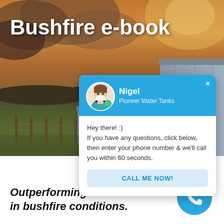[Figure (screenshot): Background photo of bushfire scene with orange smoky sky and rural landscape with shed and fence]
Bushfire e-book
[Figure (screenshot): Chat popup widget with avatar of Nigel from Pioneer Water Tanks, message text, and CALL ME NOW! button]
Outperforming all comers in bushfire conditions.